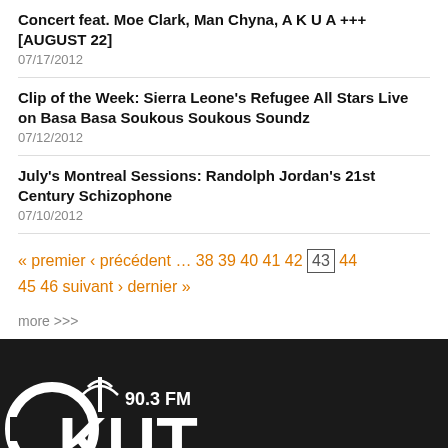Concert feat. Moe Clark, Man Chyna, A K U A +++ [AUGUST 22]
07/17/2012
Clip of the Week: Sierra Leone's Refugee All Stars Live on Basa Basa Soukous Soukous Soundz
07/12/2012
July's Montreal Sessions: Randolph Jordan's 21st Century Schizophone
07/10/2012
« premier ‹ précédent … 38 39 40 41 42 [43] 44 45 46 suivant › dernier »
more >>>
[Figure (logo): CKUT 90.3 FM radio station logo in white on dark background]